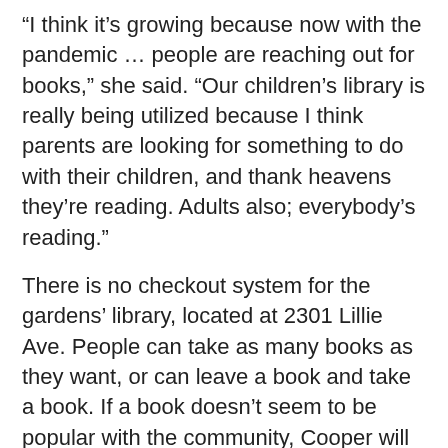“I think it’s growing because now with the pandemic … people are reaching out for books,” she said. “Our children’s library is really being utilized because I think parents are looking for something to do with their children, and thank heavens they’re reading. Adults also; everybody’s reading.”
There is no checkout system for the gardens’ library, located at 2301 Lillie Ave. People can take as many books as they want, or can leave a book and take a book. If a book doesn’t seem to be popular with the community, Cooper will pull it and replace it with another selection.
“Take what you need, what you want to read,” Cooper said.
The library is seeking donations of both adult and children’s books.